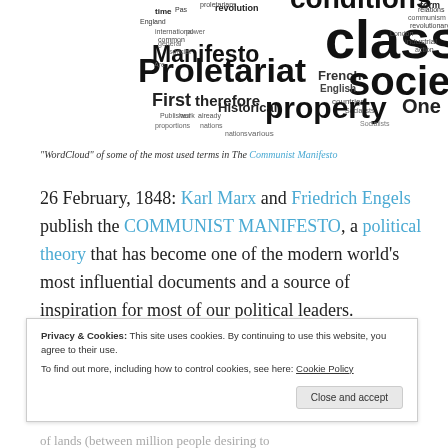[Figure (illustration): Word cloud of the most used terms in The Communist Manifesto, featuring words like class, conditions, Proletariat, society, Manifesto, property, revolution, First, therefore, Historical, One, common, international, French, English, German, form, revolutionary, communism, industrial.]
"WordCloud" of some of the most used terms in The Communist Manifesto
26 February, 1848: Karl Marx and Friedrich Engels publish the COMMUNIST MANIFESTO, a political theory that has become one of the modern world's most influential documents and a source of inspiration for most of our political leaders.
Privacy & Cookies: This site uses cookies. By continuing to use this website, you agree to their use.
To find out more, including how to control cookies, see here: Cookie Policy
Close and accept